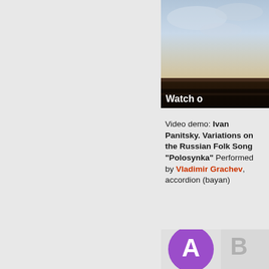[Figure (screenshot): Partial view of a video thumbnail showing a sky/outdoor scene with a dark bar overlay containing white text 'Watch o...' (truncated), positioned at top-right of page]
Video demo: Ivan Panitsky. Variations on the Russian Folk Song "Polosynka" Performed by Vladimir Grachev, accordion (bayan)
[Figure (screenshot): Partial view of a second video thumbnail showing a purple circle with white letter 'A' and partial view of another element to the right, at the bottom-right of the page]